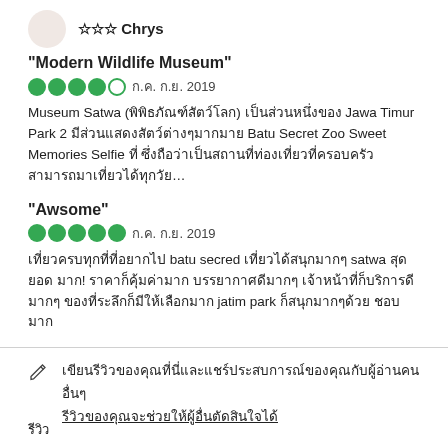☆☆☆ Chrys
"Modern Wildlife Museum"
●●●●○ ก.ค. ก.ย. 2019
Museum Satwa (พิพิธภัณฑ์สัตว์โลก) เป็นส่วนหนึ่งของ Jawa Timur Park 2 มีส่วนแสดงสัตว์ต่างๆมากมาย Batu Secret Zoo Sweet Memories Selfie ที่ ซึ่งถือว่าเป็นสถานที่ท่องเที่ยวที่ครอบครัวสามารถมาเที่ยวได้ทุกวัย…
"Awsome"
●●●●● ก.ค. ก.ย. 2019
เที่ยวครบทุกที่ที่อยากไป batu secred เที่ยวได้สนุกมากๆ satwa สุดยอด มาก! ราคาก็คุ้มค่ามาก บรรยากาศดีมากๆ เจ้าหน้าที่ก็บริการดีมากๆ ของที่ระลึกก็มีให้เลือกมาก jatim park ก็สนุกมากๆด้วย ชอบมาก
เขียนรีวิวของคุณที่นี่และแชร์ประสบการณ์ของคุณกับผู้อ่านคนอื่นๆ
รีวิวของคุณจะช่วยให้ผู้อื่นตัดสินใจได้
รีวิว